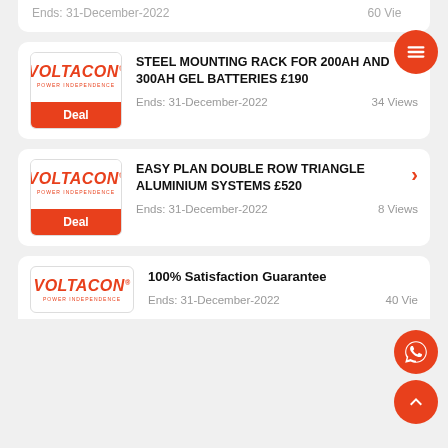Ends: 31-December-2022   60 Views
STEEL MOUNTING RACK FOR 200AH AND 300AH GEL BATTERIES £190
Ends: 31-December-2022   34 Views
EASY PLAN DOUBLE ROW TRIANGLE ALUMINIUM SYSTEMS £520
Ends: 31-December-2022   8 Views
100% Satisfaction Guarantee
Ends: 31-December-2022   40 Views